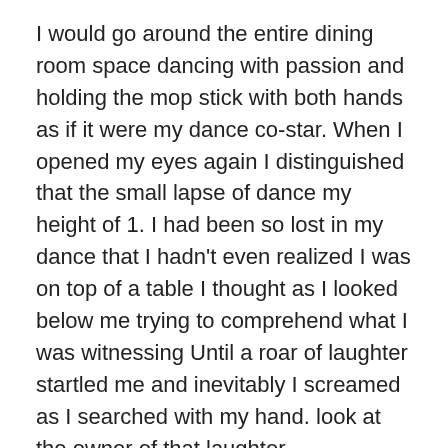I would go around the entire dining room space dancing with passion and holding the mop stick with both hands as if it were my dance co-star. When I opened my eyes again I distinguished that the small lapse of dance my height of 1. I had been so lost in my dance that I hadn't even realized I was on top of a table I thought as I looked below me trying to comprehend what I was witnessing Until a roar of laughter startled me and inevitably I screamed as I searched with my hand. look at the owner of that laughter.
This boy was leaning on one of the posts of the port with his arms crossed, dressed in a light blue shirt and denim jeans, by the reflection of the light you could see that he was sweating. He also had a